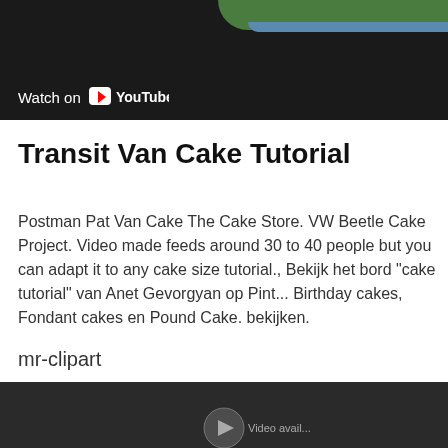[Figure (screenshot): YouTube video thumbnail showing a cake with green and blue decoration. A 'Watch on YouTube' button is overlaid in the bottom-left corner.]
Transit Van Cake Tutorial
Postman Pat Van Cake The Cake Store. VW Beetle Cake Project. Video made feeds around 30 to 40 people but you can adapt it to any cake size tutorial., Bekijk het bord "cake tutorial" van Anet Gevorgyan op Pint... Birthday cakes, Fondant cakes en Pound Cake. bekijken.
mr-clipart
[Figure (screenshot): Dark YouTube video embed area at the bottom of the page, partially cut off.]